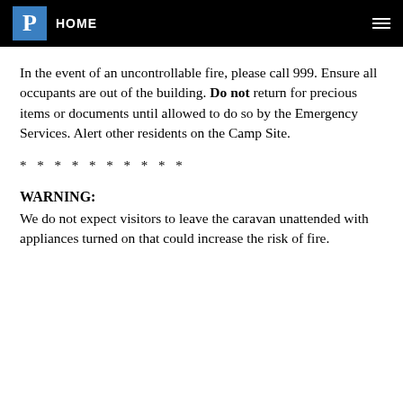P HOME
In the event of an uncontrollable fire, please call 999. Ensure all occupants are out of the building. Do not return for precious items or documents until allowed to do so by the Emergency Services. Alert other residents on the Camp Site.
* * * * * * * * * *
WARNING:
We do not expect visitors to leave the caravan unattended with appliances turned on that could increase the risk of fire.